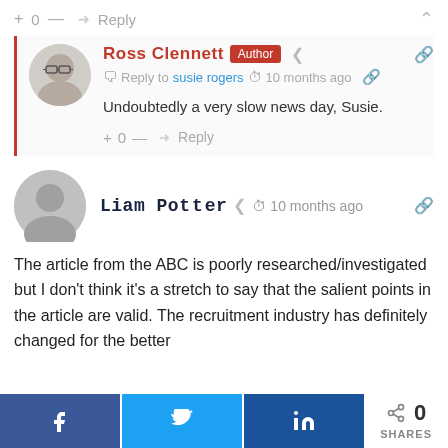+ 0 — → Reply ∧
Ross Clennett Author ≮ Reply to susie rogers ⊙ 10 months ago 🔗
Undoubtedly a very slow news day, Susie.
+ 0 — → Reply
Liam Potter ≮ ⊙ 10 months ago 🔗
The article from the ABC is poorly researched/investigated but I don't think it's a stretch to say that the salient points in the article are valid. The recruitment industry has definitely changed for the better
f  t  in  < 0 SHARES